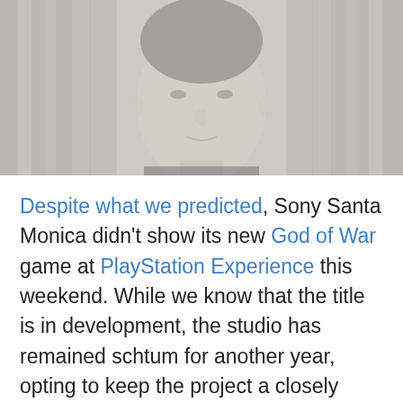[Figure (photo): A man's face partially visible behind curtains or a translucent background, grayscale/muted tones]
Despite what we predicted, Sony Santa Monica didn't show its new God of War game at PlayStation Experience this weekend. While we know that the title is in development, the studio has remained schtum for another year, opting to keep the project a closely guarded secret. Cory Barlog, who previously worked on God of War II, did pop up during a storytelling panel, however, where he likened game development to hurting kittens.